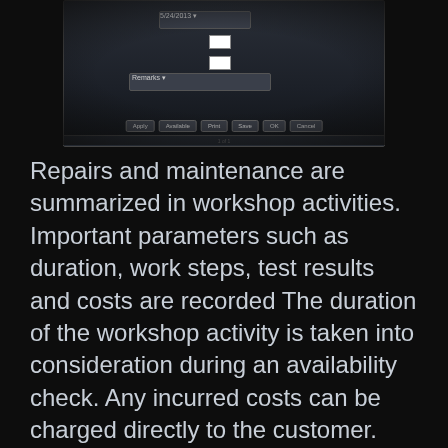[Figure (screenshot): A dark-themed software UI dialog window showing dropdown menus, input fields, buttons (Save, OK, Cancel), and a footer bar — likely a workshop or maintenance scheduling form.]
Repairs and maintenance are summarized in workshop activities. Important parameters such as duration, work steps, test results and costs are recordedThe duration of the workshop activity is taken into consideration during an availability check. Any incurred costs can be charged directly to the customer. The operating costs and downtime of a device can be tracked at any time. Maintenance schedules can be specified for every item based on days used, operating hours or calendar days. When device scheduling its...